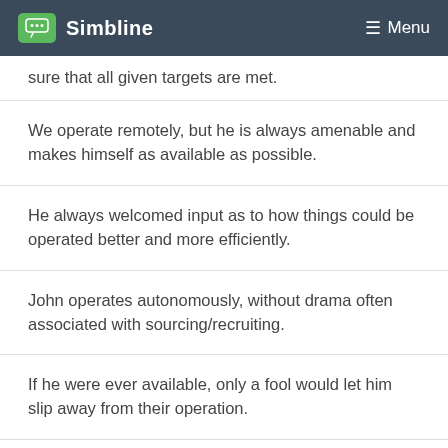Simbline  Menu
sure that all given targets are met.
We operate remotely, but he is always amenable and makes himself as available as possible.
He always welcomed input as to how things could be operated better and more efficiently.
John operates autonomously, without drama often associated with sourcing/recruiting.
If he were ever available, only a fool would let him slip away from their operation.
[Figure (other): Social sharing buttons: LinkedIn, Twitter, Facebook, Google, Reddit, Pinterest]
He is not only great at what he does, but he operates quickly